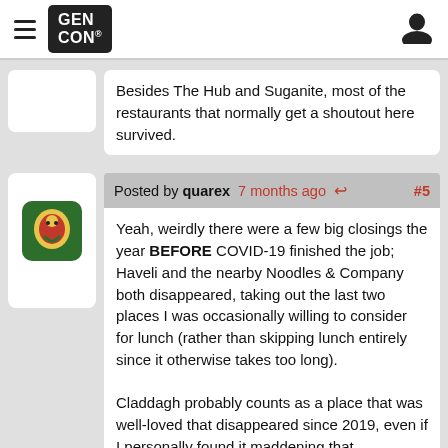Gen Con (logo) | hamburger menu | user icon
Besides The Hub and Suganite, most of the restaurants that normally get a shoutout here survived.
Posted by quarex 7 months ago #5
Yeah, weirdly there were a few big closings the year BEFORE COVID-19 finished the job; Haveli and the nearby Noodles & Company both disappeared, taking out the last two places I was occasionally willing to consider for lunch (rather than skipping lunch entirely since it otherwise takes too long).
Claddagh probably counts as a place that was well-loved that disappeared since 2019, even if I personally found it maddening that